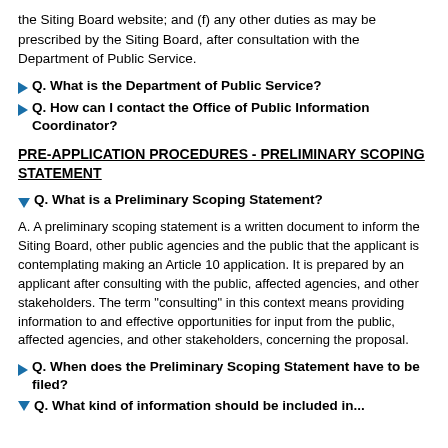the Siting Board website; and (f) any other duties as may be prescribed by the Siting Board, after consultation with the Department of Public Service.
Q. What is the Department of Public Service?
Q. How can I contact the Office of Public Information Coordinator?
PRE-APPLICATION PROCEDURES - PRELIMINARY SCOPING STATEMENT
Q. What is a Preliminary Scoping Statement?
A. A preliminary scoping statement is a written document to inform the Siting Board, other public agencies and the public that the applicant is contemplating making an Article 10 application. It is prepared by an applicant after consulting with the public, affected agencies, and other stakeholders. The term "consulting" in this context means providing information to and effective opportunities for input from the public, affected agencies, and other stakeholders, concerning the proposal.
Q. When does the Preliminary Scoping Statement have to be filed?
Q. What kind of information should be included in...